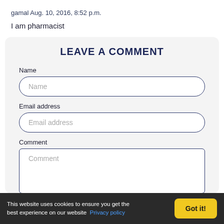gamal Aug. 10, 2016, 8:52 p.m.
I am pharmacist
LEAVE A COMMENT
Name
Email address
Comment
This website uses cookies to ensure you get the best experience on our website  Privacy policy  Got it!